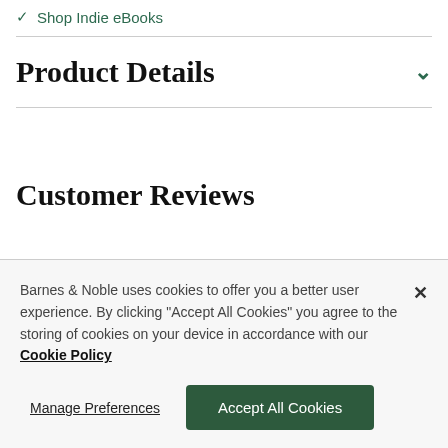✓ Shop Indie eBooks
Product Details
Customer Reviews
Barnes & Noble uses cookies to offer you a better user experience. By clicking "Accept All Cookies" you agree to the storing of cookies on your device in accordance with our Cookie Policy